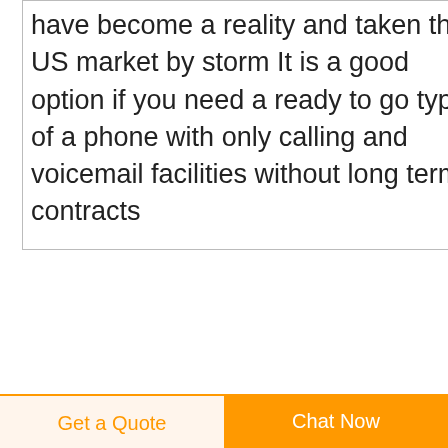have become a reality and taken the US market by storm It is a good option if you need a ready to go type of a phone with only calling and voicemail facilities without long term contracts
Amazon disposable face mask
[Figure (illustration): Small product thumbnail image showing a disposable face mask icon with dashed lines]
Premium Pack of 100 Single Use Disposable Face Mask Effective Filtration Soft on Skin Bulk Pack 3 Ply Masks Facial Cover with Elastic Earloons
[Figure (illustration): Dark navy blue circular scroll-to-top button with white upward arrow]
Get a Quote
Chat Now